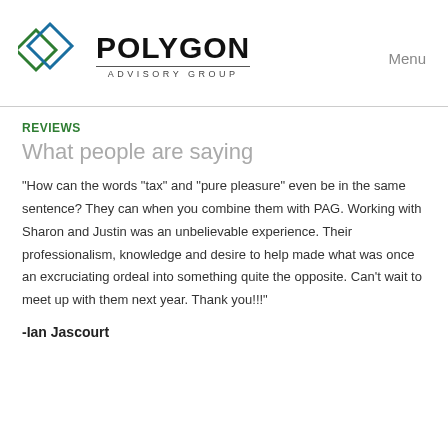[Figure (logo): Polygon Advisory Group logo with two overlapping diamond shapes in green and blue outline, next to bold text POLYGON and subtitle ADVISORY GROUP]
Menu
REVIEWS
What people are saying
"How can the words "tax" and "pure pleasure" even be in the same sentence? They can when you combine them with PAG. Working with Sharon and Justin was an unbelievable experience. Their professionalism, knowledge and desire to help made what was once an excruciating ordeal into something quite the opposite. Can't wait to meet up with them next year. Thank you!!!"
-Ian Jascourt